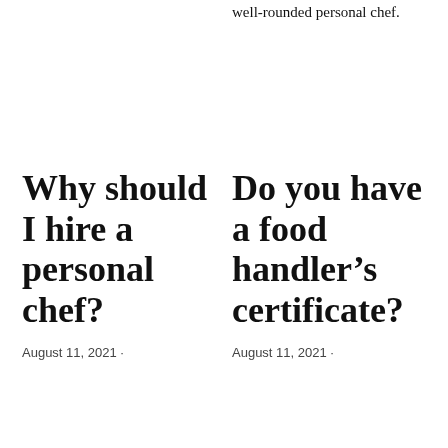well-rounded personal chef.
Why should I hire a personal chef?
August 11, 2021 ·
Do you have a food handler's certificate?
August 11, 2021 ·